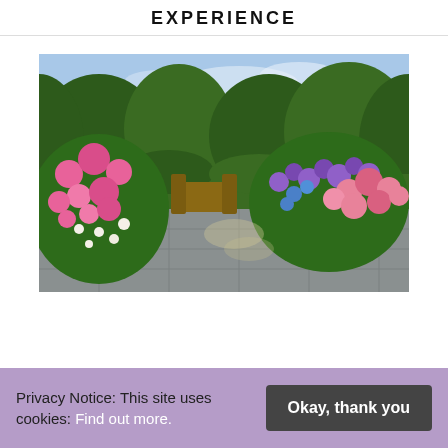EXPERIENCE
[Figure (photo): Garden scene with pink and purple roses in bloom, a paved terrace with wooden garden furniture, surrounded by lush green hedges and flowering shrubs under a partly cloudy sky.]
Privacy Notice: This site uses cookies: Find out more.